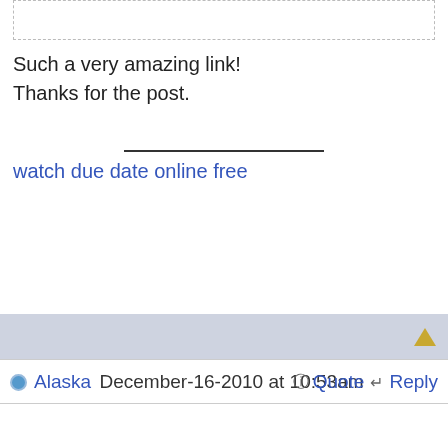Such a very amazing link!
Thanks for the post.
watch due date online free
Alaska December-16-2010 at 10:53am
Quote  Reply